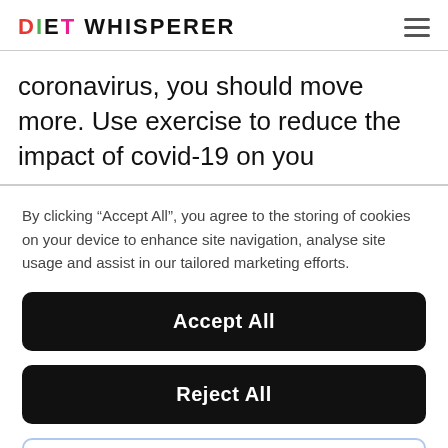DIET WHISPERER
coronavirus, you should move more. Use exercise to reduce the impact of covid-19 on you
By clicking “Accept All”, you agree to the storing of cookies on your device to enhance site navigation, analyse site usage and assist in our tailored marketing efforts.
Accept All
Reject All
Cookie Settings